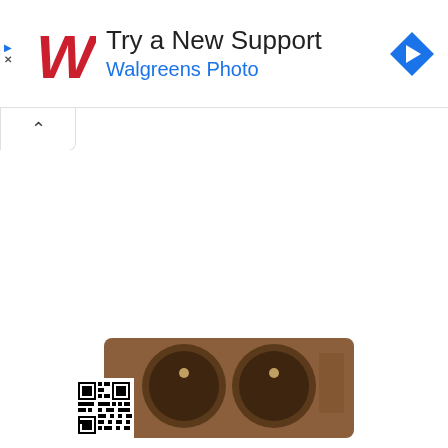[Figure (screenshot): Walgreens Photo advertisement banner with red cursive W logo, text 'Try a New Support' and 'Walgreens Photo' in blue, blue diamond arrow icon on right, play and close icons on left]
[Figure (other): Collapse/minimize tab with upward chevron caret below the ad banner]
[Figure (photo): Bottom portion of a wooden product with QR code visible on the left side and two circular metal knobs/hardware pieces, with decorative engraving pattern on the right]